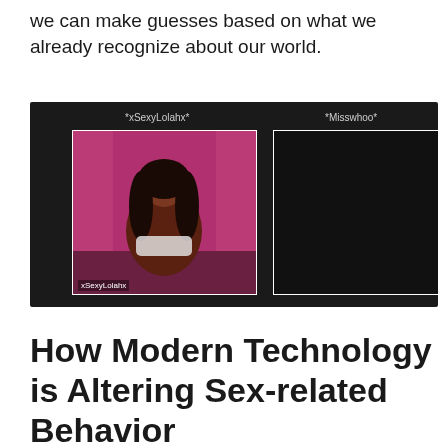we can make guesses based on what we already recognize about our world.
[Figure (screenshot): A dark-background webcam interface showing two webcam feeds labeled *xSexyLolahx* and *Misswhoo*. The left feed shows a person, the right feed is dark/offline.]
How Modern Technology is Altering Sex-related Behavior